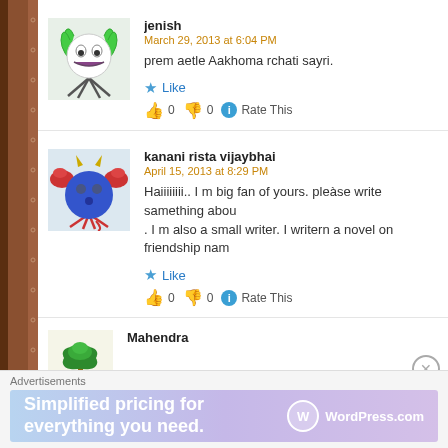jenish
March 29, 2013 at 6:04 PM
prem aetle Aakhoma rchati sayri.
Like
0  0  Rate This
kanani rista vijaybhai
April 15, 2013 at 8:29 PM
Haiiiiiiii.. I m big fan of yours. please write samething abou. . I m also a small writer. I writern a novel on friendship nam
Like
0  0  Rate This
Mahendra
Advertisements
Simplified pricing for everything you need.
WordPress.com